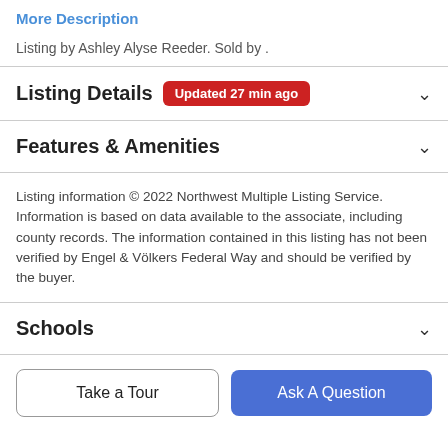More Description
Listing by Ashley Alyse Reeder. Sold by .
Listing Details  Updated 27 min ago
Features & Amenities
Listing information © 2022 Northwest Multiple Listing Service. Information is based on data available to the associate, including county records. The information contained in this listing has not been verified by Engel & Völkers Federal Way and should be verified by the buyer.
Schools
Take a Tour
Ask A Question